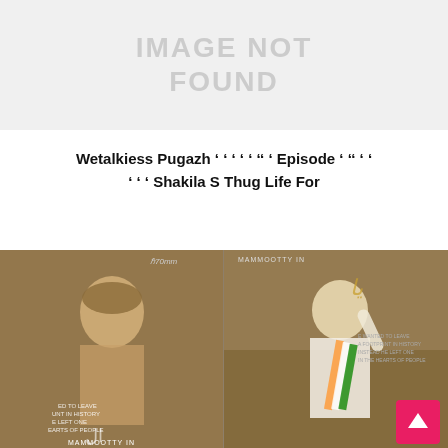[Figure (other): Image not found placeholder — grey box with 'IMAGE NOT FOUND' text]
Wetalkiess Pugazh â  â  â  â  â  â â  â  Episode â  â â  â  â  â  â  â  â  Shakila S Thug Life For
[Figure (photo): Two side-by-side movie poster images of Mammootty in what appears to be promotional stills from Malayalam films — left shows him in traditional attire with a headscarf, right shows him in white clothing waving to a crowd. Both posters have text including '70mm' and 'MAMMOOTTY IN'.]